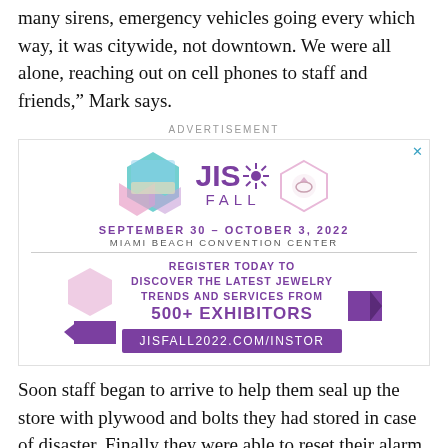many sirens, emergency vehicles going every which way, it was citywide, not downtown. We were all alone, reaching out on cell phones to staff and friends," Mark says.
[Figure (other): Advertisement for JIS Fall jewelry show, September 30 – October 3, 2022 at Miami Beach Convention Center. Register today to discover the latest jewelry trends and services from 500+ exhibitors. JISFALL2022.COM/INSTOR]
Soon staff began to arrive to help them seal up the store with plywood and bolts they had stored in case of disaster. Finally they were able to reset their alarm and go home at